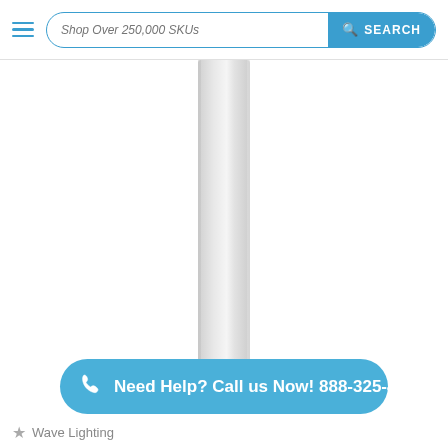Shop Over 250,000 SKUs  SEARCH
[Figure (photo): A tall, slim vertical pole/rod on a white background, centered horizontally. The pole is silver/light gray, narrow, and extends nearly the full height of the image area.]
Need Help? Call us Now! 888-325-4448
Wave Lighting